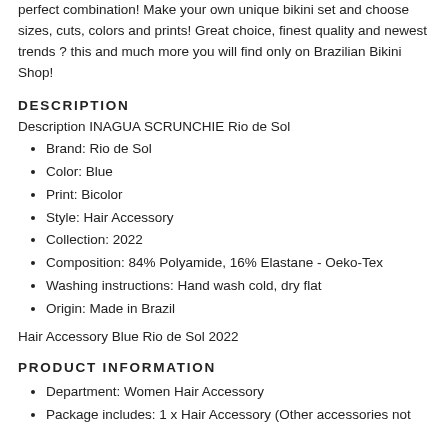perfect combination! Make your own unique bikini set and choose sizes, cuts, colors and prints! Great choice, finest quality and newest trends ? this and much more you will find only on Brazilian Bikini Shop!
DESCRIPTION
Description INAGUA SCRUNCHIE Rio de Sol
Brand: Rio de Sol
Color: Blue
Print: Bicolor
Style: Hair Accessory
Collection: 2022
Composition: 84% Polyamide, 16% Elastane - Oeko-Tex
Washing instructions: Hand wash cold, dry flat
Origin: Made in Brazil
Hair Accessory Blue Rio de Sol 2022
PRODUCT INFORMATION
Department: Women Hair Accessory
Package includes: 1 x Hair Accessory (Other accessories not